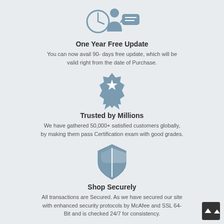[Figure (illustration): Clock with businessman and speech bubble icon representing free update]
One Year Free Update
You can now avail 90- days free update, which will be valid right from the date of Purchase.
[Figure (illustration): Award ribbon/badge icon representing trust]
Trusted by Millions
We have gathered 50,000+ satisfied customers globally, by making them pass Certification exam with good grades.
[Figure (illustration): Shield with checkered pattern icon representing security]
Shop Securely
All transactions are Secured. As we have secured our site with enhanced security protocols by McAfee and SSL 64-Bit and is checked 24/7 for consistency.